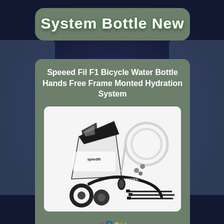System Bottle New
Speeed Fil F1 Bicycle Water Bottle Hands Free Frame Monted Hydration System
[Figure (photo): Product photo showing Speeed Fil F1 bicycle water bottle hydration system kit: a triangular frame-mounted bottle with black and white design, clear tubing, rubber gaskets, cable ties, and accessories on white background. eBay logo visible at bottom.]